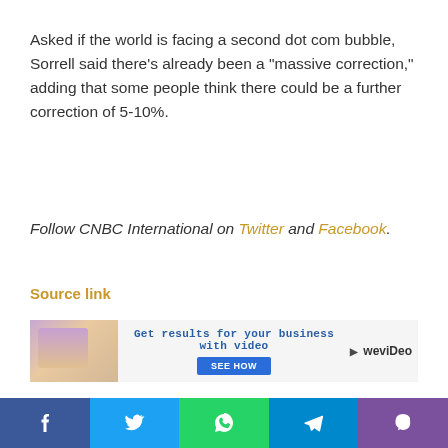Asked if the world is facing a second dot com bubble, Sorrell said there’s already been a “massive correction,” adding that some people think there could be a further correction of 5-10%.
Follow CNBC International on Twitter and Facebook.
Source link
[Figure (other): WeVideo advertisement banner: woman at laptop photo on left, blue headline 'Get results for your business with video', blue 'SEE HOW' button, WeVideo logo on right]
[Figure (other): Bottom social sharing bar with Facebook (blue), Twitter (light blue), WhatsApp (green), Telegram (blue), Viber (purple) icons]